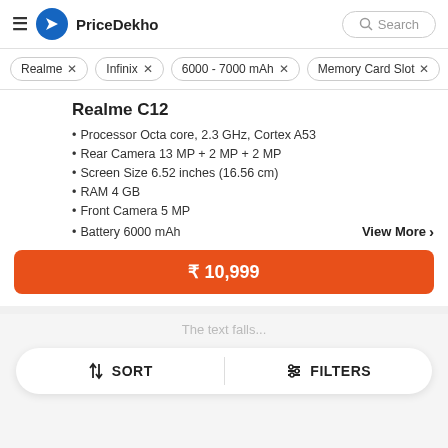PriceDekho — Search
Realme ×
Infinix ×
6000 - 7000 mAh ×
Memory Card Slot ×
Realme C12
Processor Octa core, 2.3 GHz, Cortex A53
Rear Camera 13 MP + 2 MP + 2 MP
Screen Size 6.52 inches (16.56 cm)
RAM 4 GB
Front Camera 5 MP
Battery 6000 mAh
View More >
₹ 10,999
SORT   FILTERS